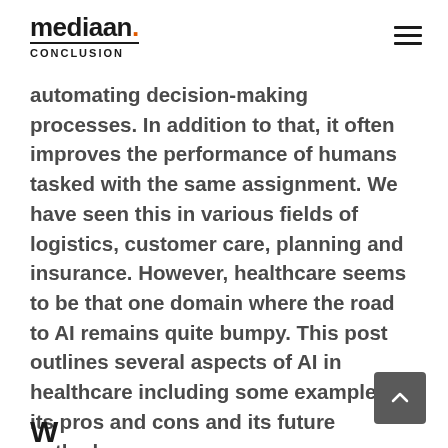mediaan. CONCLUSION
automating decision-making processes. In addition to that, it often improves the performance of humans tasked with the same assignment. We have seen this in various fields of logistics, customer care, planning and insurance. However, healthcare seems to be that one domain where the road to AI remains quite bumpy. This post outlines several aspects of AI in healthcare including some examples, its pros and cons and its future outlook.
Where does AI in healthcare s…